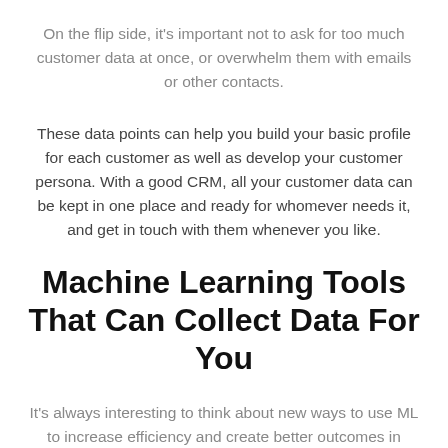On the flip side, it's important not to ask for too much customer data at once, or overwhelm them with emails or other contacts.
These data points can help you build your basic profile for each customer as well as develop your customer persona. With a good CRM, all your customer data can be kept in one place and ready for whomever needs it, and get in touch with them whenever you like.
Machine Learning Tools That Can Collect Data For You
It's always interesting to think about new ways to use ML to increase efficiency and create better outcomes in